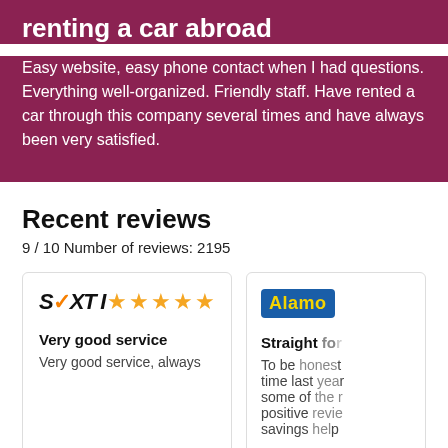renting a car abroad
Easy website, easy phone contact when I had questions. Everything well-organized. Friendly staff. Have rented a car through this company several times and have always been very satisfied.
Recent reviews
9 / 10 Number of reviews: 2195
SIXT — 5 stars — Very good service — Very good service, always
Alamo — Straight for... — To be honest time last yea... some of the... positive revi... savings hel...